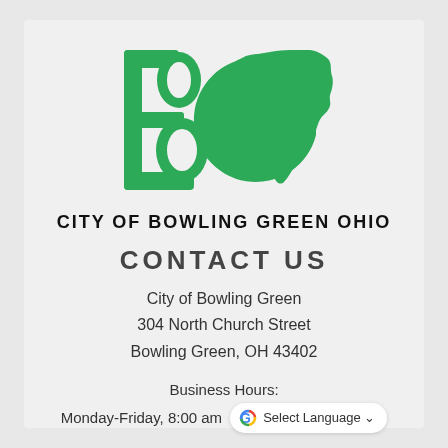[Figure (logo): City of Bowling Green Ohio logo: large green letters BG with green Ohio state silhouette to the right]
CITY OF BOWLING GREEN OHIO
CONTACT US
City of Bowling Green
304 North Church Street
Bowling Green, OH 43402
Business Hours:
Monday-Friday, 8:00 am
[Figure (other): Google Translate widget button with G logo and Select Language dropdown]